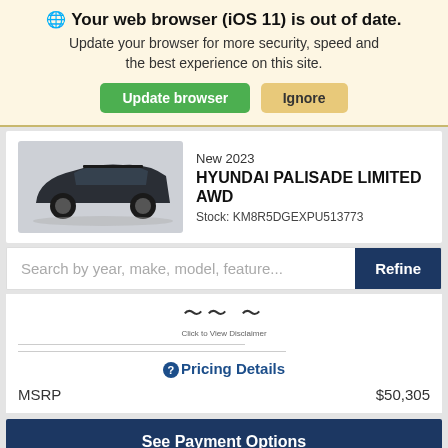Your web browser (iOS 11) is out of date. Update your browser for more security, speed and the best experience on this site.
Update browser
Ignore
[Figure (photo): Dark colored Hyundai Palisade SUV, side view]
New 2023
HYUNDAI PALISADE LIMITED AWD
Stock: KM8R5DGEXPU513773
Search by year, make, model, feature...
Refine
Click to View Disclaimer
Pricing Details
MSRP
$50,305
See Payment Options
Confirm Availability